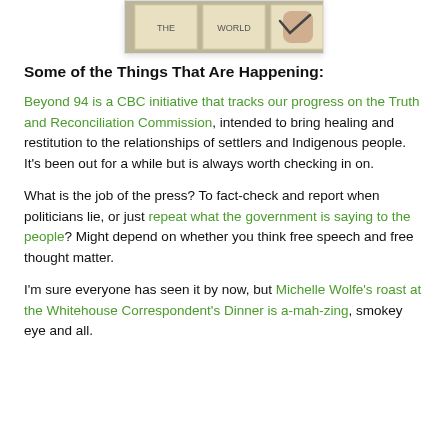[Figure (photo): Partial photo of sticky notes with handwritten text, with a hand holding one note visible at the right edge.]
Some of the Things That Are Happening:
Beyond 94 is a CBC initiative that tracks our progress on the Truth and Reconciliation Commission, intended to bring healing and restitution to the relationships of settlers and Indigenous people. It's been out for a while but is always worth checking in on.
What is the job of the press? To fact-check and report when politicians lie, or just repeat what the government is saying to the people? Might depend on whether you think free speech and free thought matter.
I'm sure everyone has seen it by now, but Michelle Wolfe's roast at the Whitehouse Correspondent's Dinner is a-mah-zing, smokey eye and all.